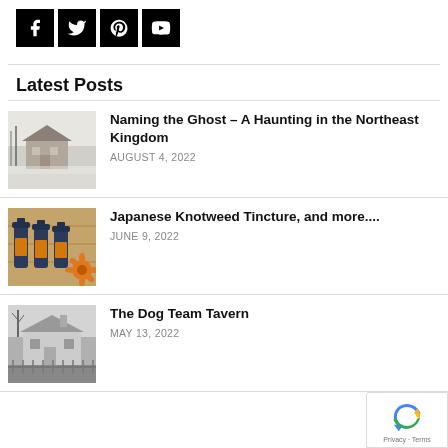[Figure (other): Social media icons row: Facebook, Twitter, Pinterest, YouTube — white icons on black square backgrounds]
Latest Posts
[Figure (photo): Black and white photograph of a house in a snowy street scene]
Naming the Ghost – A Haunting in the Northeast Kingdom
AUGUST 4, 2022
[Figure (photo): Color photograph of dark glass bottles of tincture with an orange flower]
Japanese Knotweed Tincture, and more....
JUNE 9, 2022
[Figure (photo): Black and white photograph of The Dog Team Tavern building]
The Dog Team Tavern
MAY 13, 2022